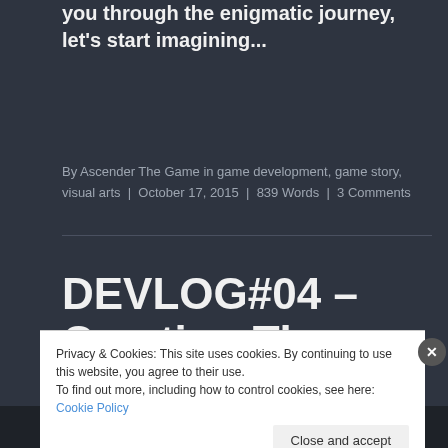you through the enigmatic journey, let's start imagining...
By Ascender The Game in game development, game story, visual arts | October 17, 2015 | 839 Words | 3 Comments
DEVLOG#04 – Creating The World
Privacy & Cookies: This site uses cookies. By continuing to use this website, you agree to their use. To find out more, including how to control cookies, see here: Cookie Policy
Close and accept